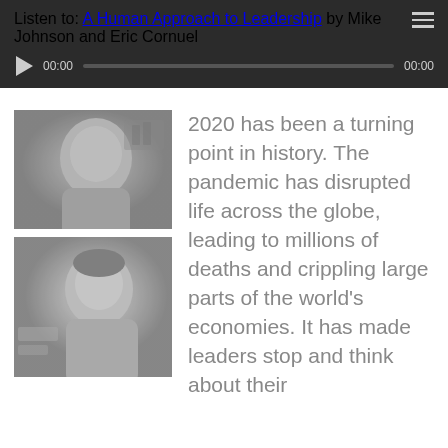Listen to: A Human Approach to Leadership by Mike Johnson and Eric Cornuel
[Figure (photo): Black and white portrait photo of an older man (Mike Johnson)]
[Figure (photo): Black and white portrait photo of a middle-aged man smiling (Eric Cornuel)]
2020 has been a turning point in history. The pandemic has disrupted life across the globe, leading to millions of deaths and crippling large parts of the world's economies. It has made leaders stop and think about their